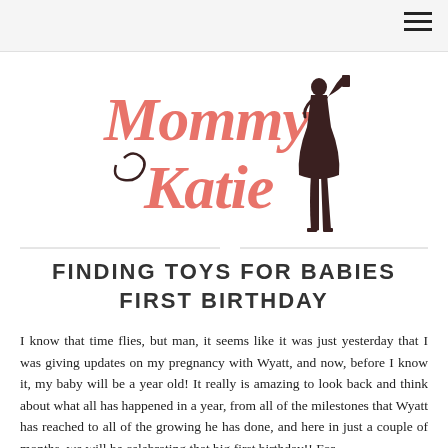[Figure (logo): Mommy Katie blog logo with cursive pink text reading 'Mommy Katie' and a dark silhouette of a woman in a dress]
FINDING TOYS FOR BABIES FIRST BIRTHDAY
I know that time flies, but man, it seems like it was just yesterday that I was giving updates on my pregnancy with Wyatt, and now, before I know it, my baby will be a year old! It really is amazing to look back and think about what all has happened in a year, from all of the milestones that Wyatt has reached to all of the growing he has done, and here in just a couple of months, we will be celebrating that big first birthday!! For